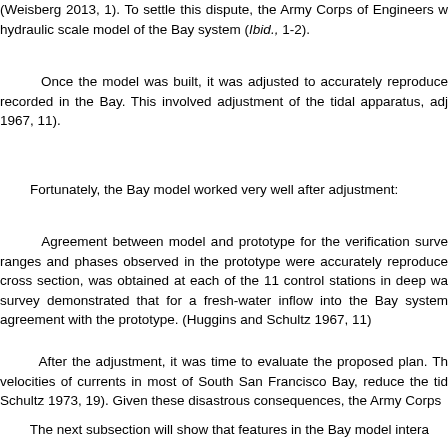(Weisberg 2013, 1). To settle this dispute, the Army Corps of Engineers w hydraulic scale model of the Bay system (Ibid., 1-2).
Once the model was built, it was adjusted to accurately reproduce recorded in the Bay. This involved adjustment of the tidal apparatus, adj 1967, 11).
Fortunately, the Bay model worked very well after adjustment:
Agreement between model and prototype for the verification surve ranges and phases observed in the prototype were accurately reproduce cross section, was obtained at each of the 11 control stations in deep wa survey demonstrated that for a fresh-water inflow into the Bay system agreement with the prototype. (Huggins and Schultz 1967, 11)
After the adjustment, it was time to evaluate the proposed plan. Th velocities of currents in most of South San Francisco Bay, reduce the tid Schultz 1973, 19). Given these disastrous consequences, the Army Corps
The next subsection will show that features in the Bay model intera